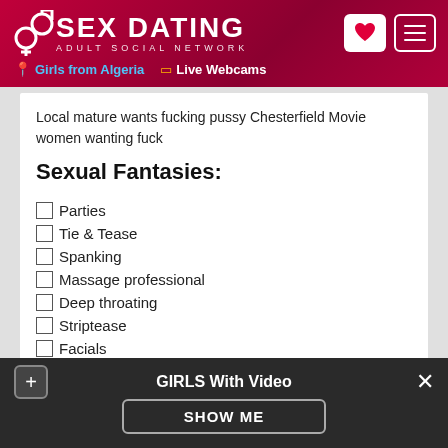SEX DATING ADULT SOCIAL NETWORK | Girls from Algeria | Live Webcams
Local mature wants fucking pussy Chesterfield Movie women wanting fuck
Sexual Fantasies:
Parties
Tie & Tease
Spanking
Massage professional
Deep throating
Striptease
Facials
BDSM
GIRLS With Video | SHOW ME